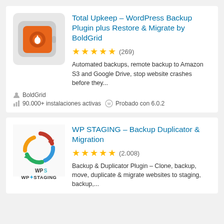[Figure (logo): Total Upkeep plugin icon: orange safe/vault icon on gray rounded-rectangle background]
Total Upkeep – WordPress Backup Plugin plus Restore & Migrate by BoldGrid
★★★★★ (269)
Automated backups, remote backup to Amazon S3 and Google Drive, stop website crashes before they...
BoldGrid
90.000+ instalaciones activas   Probado con 6.0.2
[Figure (logo): WP STAGING plugin icon: circular arrows logo in red, blue, yellow, green with WPSTAGING text below]
WP STAGING – Backup Duplicator & Migration
★★★★★ (2.008)
Backup & Duplicator Plugin – Clone, backup, move, duplicate & migrate websites to staging, backup,...